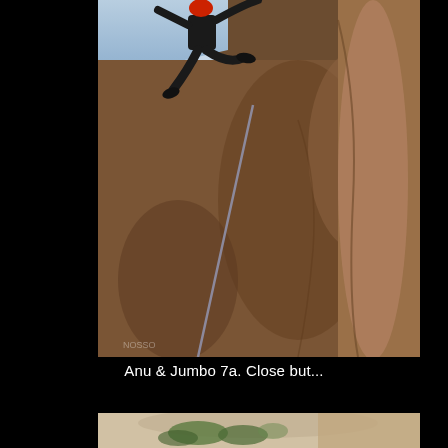[Figure (photo): A rock climber ascending a steep rocky wall, wearing dark clothing and a harness with gear, with a rope visible diagonally across the image. The rock face is brown/tan sandstone.]
Anu & Jumbo 7a. Close but...
[Figure (photo): Partial view of a limestone cliff face with green vegetation/trees visible, photographed from below.]